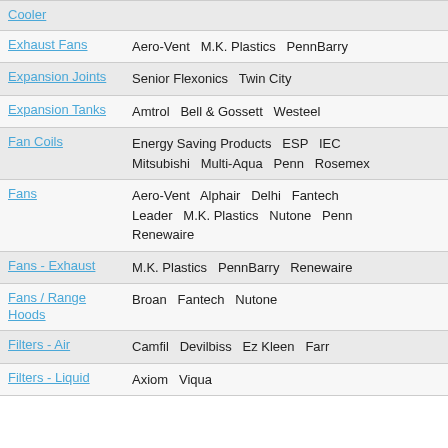| Category | Brands |
| --- | --- |
| Cooler |  |
| Exhaust Fans | Aero-Vent   M.K. Plastics   PennBarry |
| Expansion Joints | Senior Flexonics   Twin City |
| Expansion Tanks | Amtrol   Bell & Gossett   Westeel |
| Fan Coils | Energy Saving Products   ESP   IEC   Mitsubishi   Multi-Aqua   Penn   Rosemex |
| Fans | Aero-Vent   Alphair   Delhi   Fantech   Leader   M.K. Plastics   Nutone   Penn   Renewaire |
| Fans - Exhaust | M.K. Plastics   PennBarry   Renewaire |
| Fans / Range Hoods | Broan   Fantech   Nutone |
| Filters - Air | Camfil   Devilbiss   Ez Kleen   Farr |
| Filters - Liquid | Axiom   Viqua |